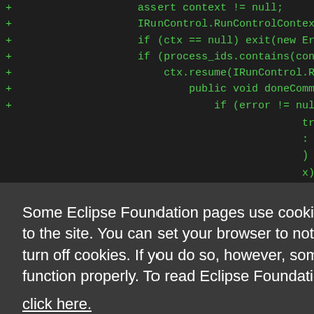[Figure (screenshot): Code editor background showing green diff lines with + markers and Java/JavaScript code fragments including assert, IRunControl, RunControlContext, ctx, process_ids, resume, doneCommand, error, map.put]
Some Eclipse Foundation pages use cookies to better serve you when you return to the site. You can set your browser to notify you before you receive a cookie or turn off cookies. If you do so, however, some areas of some sites may not function properly. To read Eclipse Foundation Privacy Policy click here.